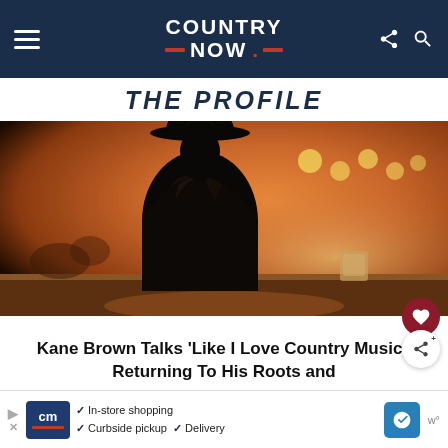COUNTRY NOW
THE PROFILE
[Figure (photo): Silhouette of a person wearing a cowboy hat and leather jacket, viewed from behind, standing at a bar with warm orange stage lighting and a glass on the counter in the background]
Kane Brown Talks ‘Like I Love Country Music,’ Returning To His Roots and
In-store shopping · Curbside pickup · Delivery